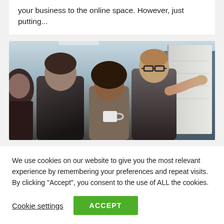your business to the online space. However, just putting...
[Figure (photo): Group of young professionals gathered around a whiteboard. A man with glasses is pointing at the board while colleagues watch attentively. One woman holds a white mug.]
We use cookies on our website to give you the most relevant experience by remembering your preferences and repeat visits. By clicking “Accept”, you consent to the use of ALL the cookies.
Cookie settings
ACCEPT